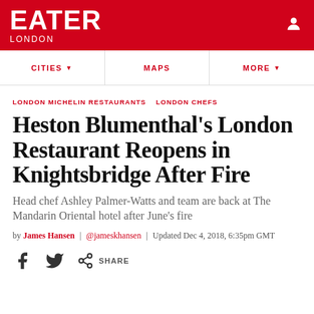EATER LONDON
CITIES   MAPS   MORE
LONDON MICHELIN RESTAURANTS   LONDON CHEFS
Heston Blumenthal's London Restaurant Reopens in Knightsbridge After Fire
Head chef Ashley Palmer-Watts and team are back at The Mandarin Oriental hotel after June's fire
by James Hansen | @jameskhansen | Updated Dec 4, 2018, 6:35pm GMT